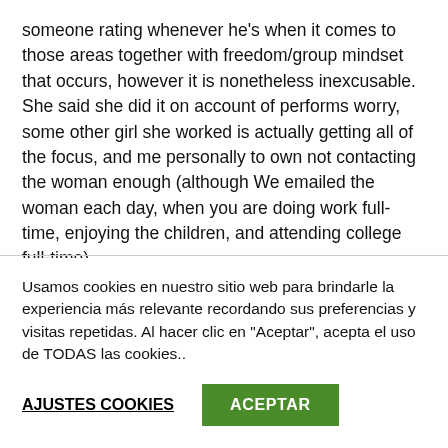someone rating whenever he's when it comes to those areas together with freedom/group mindset that occurs, however it is nonetheless inexcusable. She said she did it on account of performs worry, some other girl she worked is actually getting all of the focus, and me personally to own not contacting the woman enough (although We emailed the woman each day, when you are doing work full-time, enjoying the children, and attending college full-time).
Usamos cookies en nuestro sitio web para brindarle la experiencia más relevante recordando sus preferencias y visitas repetidas. Al hacer clic en "Aceptar", acepta el uso de TODAS las cookies..
AJUSTES COOKIES
ACEPTAR